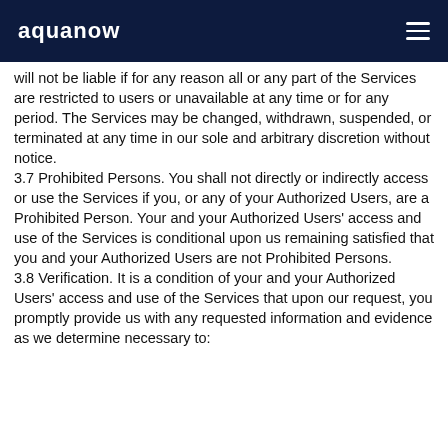aquanow
will not be liable if for any reason all or any part of the Services are restricted to users or unavailable at any time or for any period. The Services may be changed, withdrawn, suspended, or terminated at any time in our sole and arbitrary discretion without notice.
3.7 Prohibited Persons. You shall not directly or indirectly access or use the Services if you, or any of your Authorized Users, are a Prohibited Person. Your and your Authorized Users' access and use of the Services is conditional upon us remaining satisfied that you and your Authorized Users are not Prohibited Persons.
3.8 Verification. It is a condition of your and your Authorized Users' access and use of the Services that upon our request, you promptly provide us with any requested information and evidence as we determine necessary to: